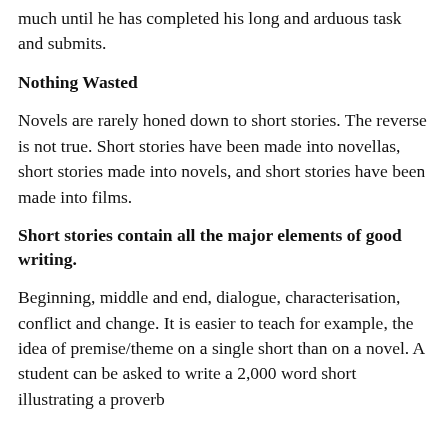much until he has completed his long and arduous task and submits.
Nothing Wasted
Novels are rarely honed down to short stories. The reverse is not true. Short stories have been made into novellas, short stories made into novels, and short stories have been made into films.
Short stories contain all the major elements of good writing.
Beginning, middle and end, dialogue, characterisation, conflict and change. It is easier to teach for example, the idea of premise/theme on a single short than on a novel. A student can be asked to write a 2,000 word short illustrating a proverb